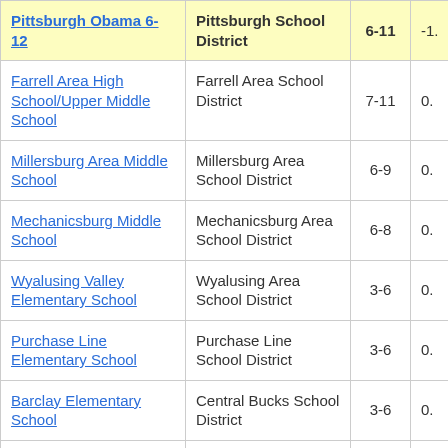| School | School District | Grades |  |
| --- | --- | --- | --- |
| Pittsburgh Obama 6-12 | Pittsburgh School District | 6-11 | -1. |
| Farrell Area High School/Upper Middle School | Farrell Area School District | 7-11 | 0. |
| Millersburg Area Middle School | Millersburg Area School District | 6-9 | 0. |
| Mechanicsburg Middle School | Mechanicsburg Area School District | 6-8 | 0. |
| Wyalusing Valley Elementary School | Wyalusing Area School District | 3-6 | 0. |
| Purchase Line Elementary School | Purchase Line School District | 3-6 | 0. |
| Barclay Elementary School | Central Bucks School District | 3-6 | 0. |
| Butler Elementary School | Central Bucks School District | 3-6 | 0. |